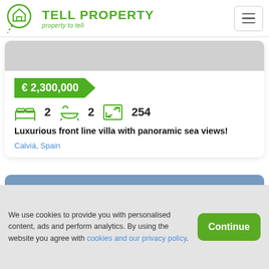TELL PROPERTY — property to tell
[Figure (logo): Tell Property logo: green house speech bubble icon with TELL PROPERTY text and tagline 'property to tell']
€ 2,300,000
[Figure (infographic): Property icons: bed icon with count 2, bath icon with count 2, area icon with count 254]
Luxurious front line villa with panoramic sea views!
Calvià, Spain
We use cookies to provide you with personalised content, ads and perform analytics. By using the website you agree with cookies and our privacy policy.